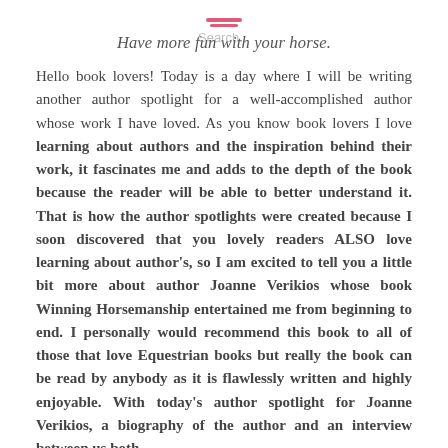Have more fun with your horse.
Hello book lovers! Today is a day where I will be writing another author spotlight for a well-accomplished author whose work I have loved. As you know book lovers I love learning about authors and the inspiration behind their work, it fascinates me and adds to the depth of the book because the reader will be able to better understand it. That is how the author spotlights were created because I soon discovered that you lovely readers ALSO love learning about author's, so I am excited to tell you a little bit more about author Joanne Verikios whose book Winning Horsemanship entertained me from beginning to end. I personally would recommend this book to all of those that love Equestrian books but really the book can be read by anybody as it is flawlessly written and highly enjoyable. With today's author spotlight for Joanne Verikios, a biography of the author and an interview between us both